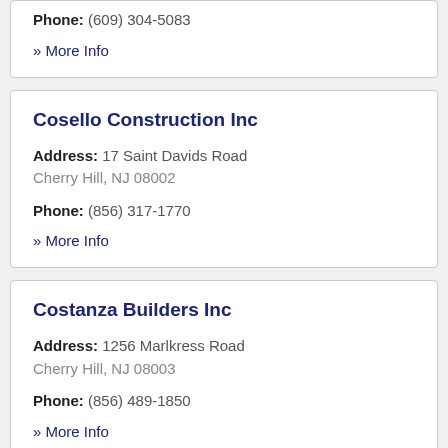Phone: (609) 304-5083
» More Info
Cosello Construction Inc
Address: 17 Saint Davids Road Cherry Hill, NJ 08002
Phone: (856) 317-1770
» More Info
Costanza Builders Inc
Address: 1256 Marlkress Road Cherry Hill, NJ 08003
Phone: (856) 489-1850
» More Info